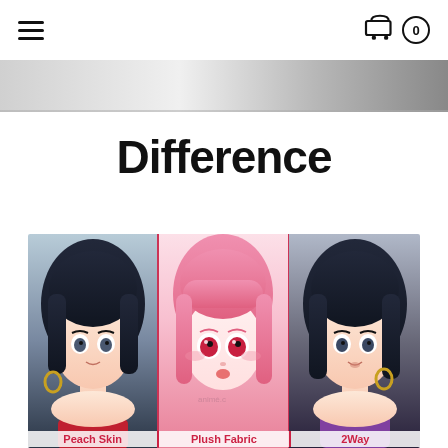≡  [cart icon] 0
[Figure (illustration): Horizontal decorative banner strip with silver/grey gradient background]
Difference
[Figure (illustration): Three side-by-side anime character illustrations comparing fabric types: left panel shows dark-haired character (Peach Skin), center panel shows pink-haired character (Plush Fabric), right panel shows dark-haired character (2Way). Labels shown at bottom of image.]